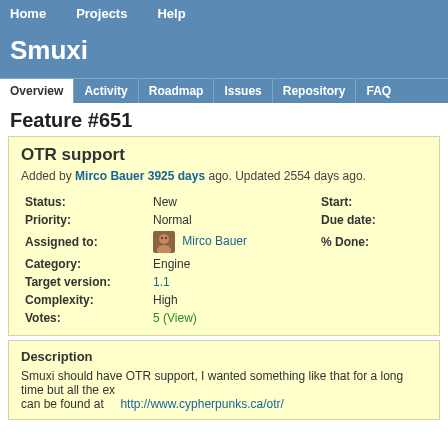Home | Projects | Help
Smuxi
Overview | Activity | Roadmap | Issues | Repository | FAQ
Feature #651
OTR support
Added by Mirco Bauer 3925 days ago. Updated 2554 days ago.
| Field | Value | Field | Value |
| --- | --- | --- | --- |
| Status: | New | Start: |  |
| Priority: | Normal | Due date: |  |
| Assigned to: | Mirco Bauer | % Done: |  |
| Category: | Engine |  |  |
| Target version: | 1.1 |  |  |
| Complexity: | High |  |  |
| Votes: | 5 (View) |  |  |
Description
Smuxi should have OTR support, I wanted something like that for a long time but all the ex... can be found at http://www.cypherpunks.ca/otr/